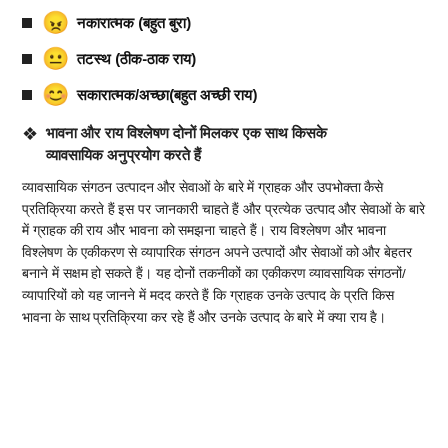😠 नकारात्मक (बहुत बुरा)
😐 तटस्थ (ठीक-ठाक राय)
😊 सकारात्मक/अच्छा(बहुत अच्छी राय)
❖ भावना और राय विश्लेषण दोनों मिलकर एक साथ किसके व्यावसायिक अनुप्रयोग करते हैं
व्यावसायिक संगठन उत्पादन और सेवाओं के बारे में ग्राहक और उपभोक्ता कैसे प्रतिक्रिया करते हैं इस पर जानकारी चाहते हैं और प्रत्येक उत्पाद और सेवाओं के बारे में ग्राहक की राय और भावना को समझना चाहते हैं। राय विश्लेषण और भावना विश्लेषण के एकीकरण से व्यापारिक संगठन अपने उत्पादों और सेवाओं को और बेहतर बनाने में सक्षम हो सकते हैं। यह दोनों तकनीकों का एकीकरण व्यावसायिक संगठनों/व्यापारियों को यह जानने में मदद करते हैं कि ग्राहक उनके उत्पाद के प्रति किस भावना के साथ प्रतिक्रिया कर रहे हैं और उनके उत्पाद के बारे में क्या राय है।